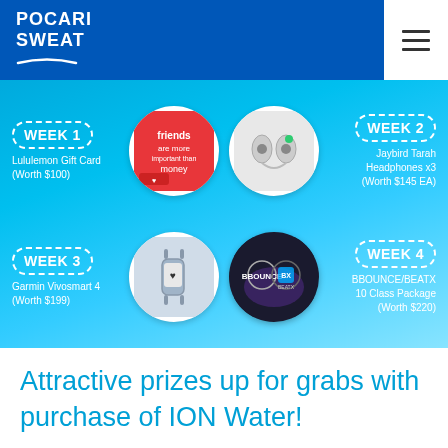POCARI SWEAT
[Figure (infographic): Promotional banner showing 4 weekly prizes: Week 1 Lululemon Gift Card (Worth $100), Week 2 Jaybird Tarah Headphones x3 (Worth $145 EA), Week 3 Garmin Vivosmart 4 (Worth $199), Week 4 BBOUNCE/BEATX 10 Class Package (Worth $220). Each week has a circular product image and a dotted-border label.]
Attractive prizes up for grabs with purchase of ION Water!